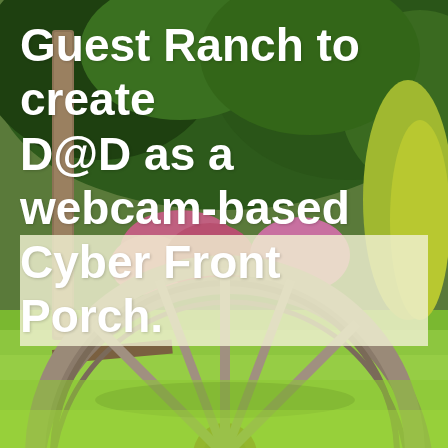[Figure (photo): Outdoor scene with a large wooden wagon wheel leaning against a fence post on a green lawn, with flowering shrubs and green trees/foliage in the background.]
Guest Ranch to create D@D as a webcam-based Cyber Front Porch.